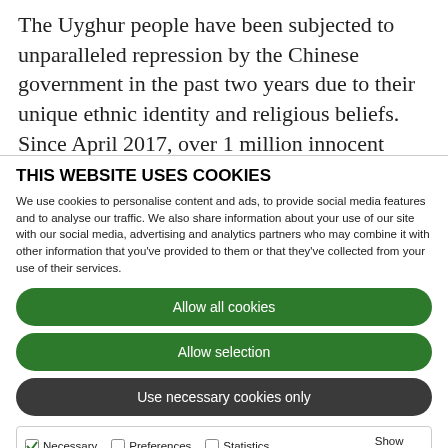The Uyghur people have been subjected to unparalleled repression by the Chinese government in the past two years due to their unique ethnic identity and religious beliefs. Since April 2017, over 1 million innocent Uyghurs have been arbitrarily detained in a network of
THIS WEBSITE USES COOKIES
We use cookies to personalise content and ads, to provide social media features and to analyse our traffic. We also share information about your use of our site with our social media, advertising and analytics partners who may combine it with other information that you've provided to them or that they've collected from your use of their services.
Allow all cookies
Allow selection
Use necessary cookies only
Necessary | Preferences | Statistics | Marketing | Show details